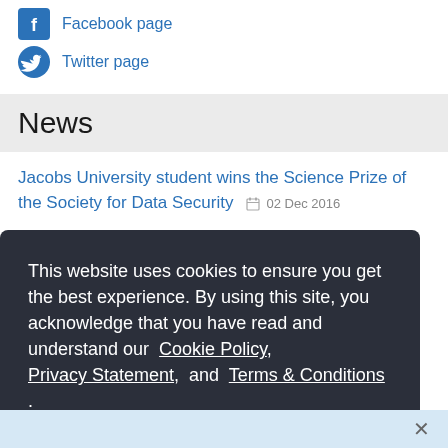Facebook page
Twitter page
News
Jacobs University student wins the Science Prize of the Society for Data Security  02 Dec 2016
This website uses cookies to ensure you get the best experience. By using this site, you acknowledge that you have read and understand our Cookie Policy, Privacy Statement, and Terms & Conditions .
OK